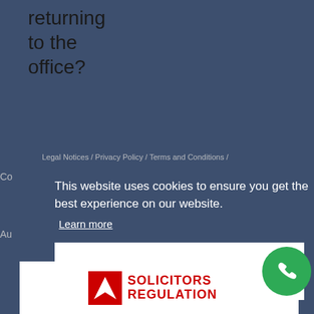returning to the office?
Legal Notices / Privacy Policy / Terms and Conditions /
Co
Au
This website uses cookies to ensure you get the best experience on our website.
Learn more
Accept
[Figure (logo): Solicitors Regulation Authority logo with red arrow and text]